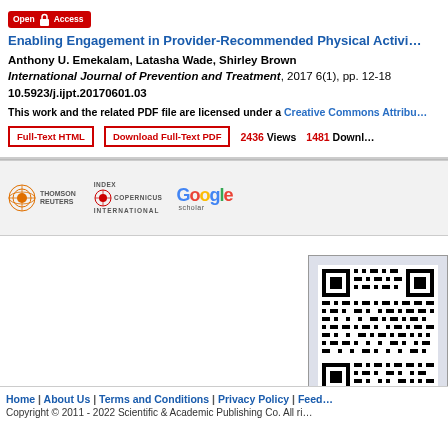[Figure (logo): Open Access badge in red]
Enabling Engagement in Provider-Recommended Physical Activi…
Anthony U. Emekalam, Latasha Wade, Shirley Brown
International Journal of Prevention and Treatment, 2017 6(1), pp. 12-18
10.5923/j.ijpt.20170601.03
This work and the related PDF file are licensed under a Creative Commons Attribu…
Full-Text HTML   Download Full-Text PDF   2436 Views   1481 Downloads
[Figure (other): Thomson Reuters logo]
[Figure (other): Index Copernicus International logo]
[Figure (other): Google Scholar logo]
[Figure (other): QR code for article]
Home | About Us | Terms and Conditions | Privacy Policy | Feed…
Copyright © 2011 - 2022 Scientific & Academic Publishing Co. All ri…